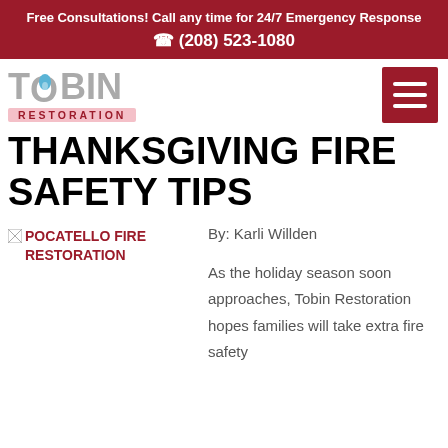Free Consultations! Call any time for 24/7 Emergency Response
☎ (208) 523-1080
[Figure (logo): Tobin Restoration logo with water drop icon and red RESTORATION text]
THANKSGIVING FIRE SAFETY TIPS
[Figure (photo): POCATELLO FIRE RESTORATION - image placeholder]
By: Karli Willden
As the holiday season soon approaches, Tobin Restoration hopes families will take extra fire safety